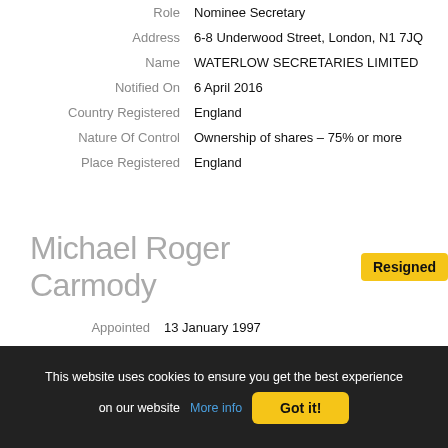| Role | Nominee Secretary |
| Address | 6-8 Underwood Street, London, N1 7JQ |
| Name | WATERLOW SECRETARIES LIMITED |
| Notified On | 6 April 2016 |
| Country Registered | England |
| Nature Of Control | Ownership of shares – 75% or more |
| Place Registered | England |
Michael Roger Carmody
Resigned
| Appointed | 13 January 1997 |
| Resigned | 22 November 2002 |
This website uses cookies to ensure you get the best experience on our website More info Got it!